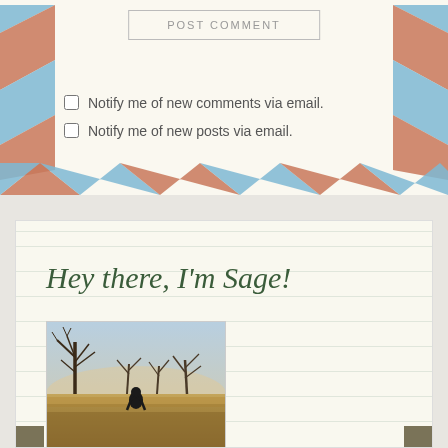POST COMMENT
Notify me of new comments via email.
Notify me of new posts via email.
Hey there, I'm Sage!
[Figure (photo): Person walking through a field with bare trees in winter/autumn light]